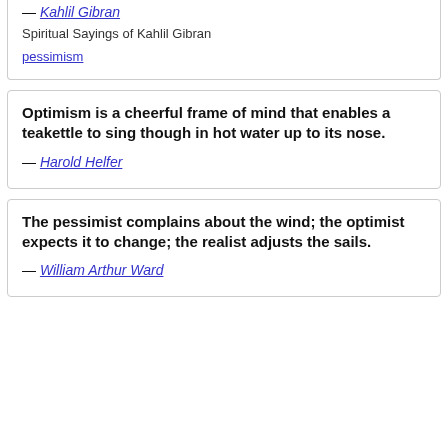— Kahlil Gibran
Spiritual Sayings of Kahlil Gibran
pessimism
Optimism is a cheerful frame of mind that enables a teakettle to sing though in hot water up to its nose.
— Harold Helfer
The pessimist complains about the wind; the optimist expects it to change; the realist adjusts the sails.
— William Arthur Ward